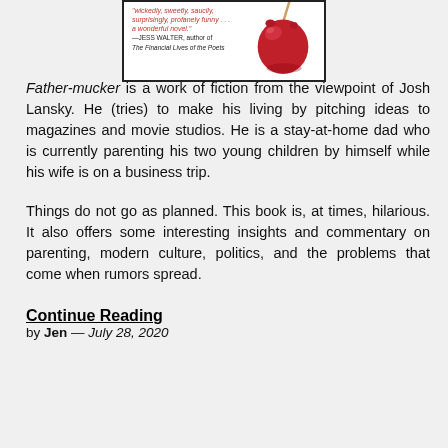[Figure (illustration): Book cover image showing a red candy apple on the right side, with red italic text on the left side of the cover including a quote and attribution to Jess Walter, author of The Financial Lives of the Poets. The cover has a white background with a black border.]
Father-mucker is a work of fiction from the viewpoint of Josh Lansky. He (tries) to make his living by pitching ideas to magazines and movie studios. He is a stay-at-home dad who is currently parenting his two young children by himself while his wife is on a business trip.
Things do not go as planned. This book is, at times, hilarious. It also offers some interesting insights and commentary on parenting, modern culture, politics, and the problems that come when rumors spread.
Continue Reading
by Jen — July 28, 2020